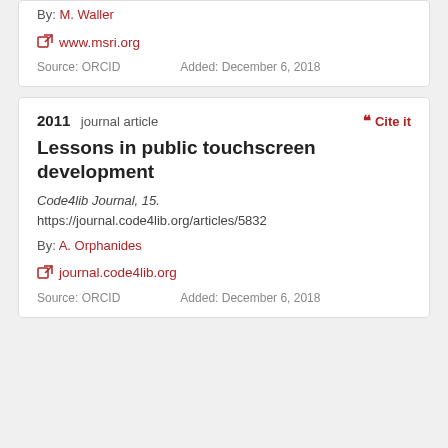By: M. Waller
www.msri.org
Source: ORCID    Added: December 6, 2018
2011  journal article
Cite it
Lessons in public touchscreen development
Code4lib Journal, 15. https://journal.code4lib.org/articles/5832
By: A. Orphanides
journal.code4lib.org
Source: ORCID    Added: December 6, 2018